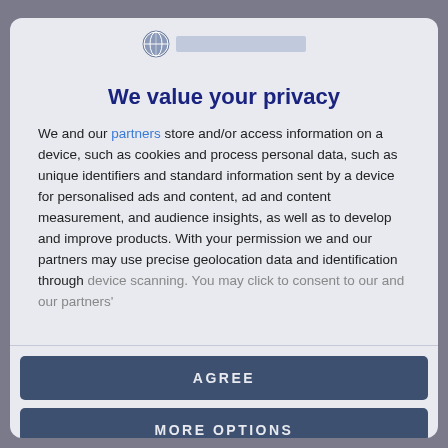[Figure (logo): Circular logo icon with globe/shield design in grey-blue, followed by a blurred/redacted text label]
We value your privacy
We and our partners store and/or access information on a device, such as cookies and process personal data, such as unique identifiers and standard information sent by a device for personalised ads and content, ad and content measurement, and audience insights, as well as to develop and improve products. With your permission we and our partners may use precise geolocation data and identification through device scanning. You may click to consent to our and our partners'
AGREE
MORE OPTIONS
DISAGREE